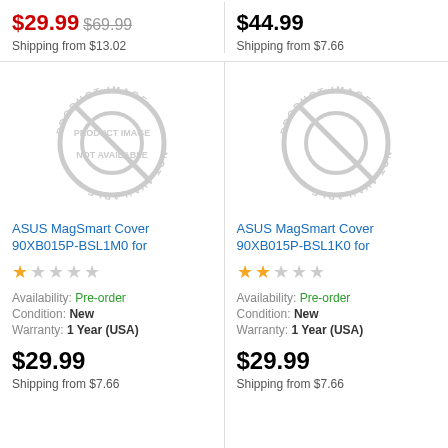$29.99 $69.99
Shipping from $13.02
$44.99
Shipping from $7.66
[Figure (illustration): Product image not available placeholder with circle and slash icon]
ASUS MagSmart Cover 90XB015P-BSL1M0 for
1 star out of 5
Availability: Pre-order
Condition: New
Warranty: 1 Year (USA)
$29.99
Shipping from $7.66
[Figure (illustration): Product image not available placeholder with circle and slash icon]
ASUS MagSmart Cover 90XB015P-BSL1K0 for
2 stars out of 5
Availability: Pre-order
Condition: New
Warranty: 1 Year (USA)
$29.99
Shipping from $7.66